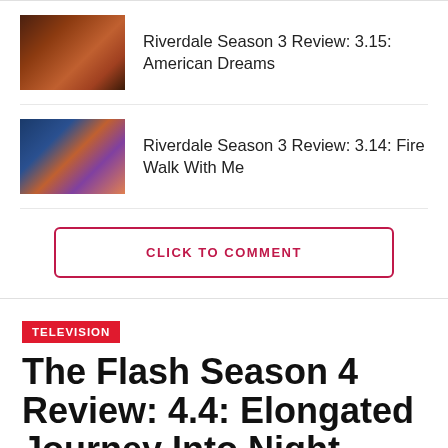[Figure (photo): Thumbnail image for Riverdale Season 3 episode 3.15 American Dreams showing dimly lit dinner scene]
Riverdale Season 3 Review: 3.15: American Dreams
[Figure (photo): Thumbnail image for Riverdale Season 3 episode 3.14 Fire Walk With Me showing a young man in a letterman jacket]
Riverdale Season 3 Review: 3.14: Fire Walk With Me
CLICK TO COMMENT
TELEVISION
The Flash Season 4 Review: 4.4: Elongated Journey Into Night
By Lenny Burnham
Posted on November 1, 2017